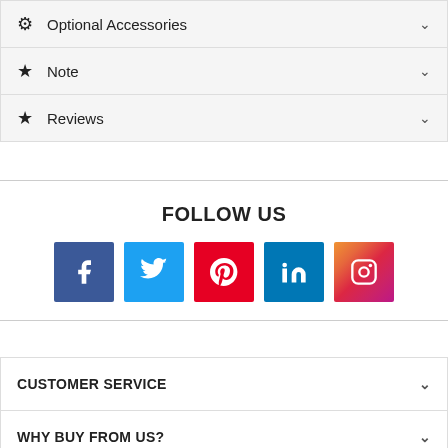Optional Accessories
Note
Reviews
FOLLOW US
[Figure (infographic): Social media icons: Facebook (blue), Twitter (light blue), Pinterest (red), LinkedIn (dark blue), Instagram (gradient)]
CUSTOMER SERVICE
WHY BUY FROM US?